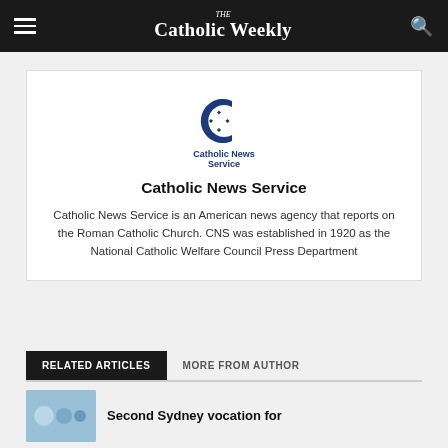The Catholic Weekly
[Figure (logo): Catholic News Service logo — stylized C with cross inside, blue color, with text 'Catholic News Service' below]
Catholic News Service
Catholic News Service is an American news agency that reports on the Roman Catholic Church. CNS was established in 1920 as the National Catholic Welfare Council Press Department
RELATED ARTICLES
MORE FROM AUTHOR
Second Sydney vocation for